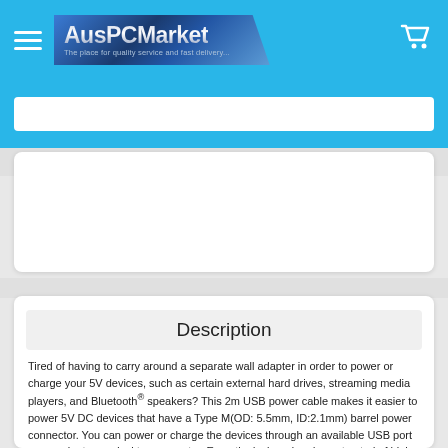AusPCMarket — The place for quality service and fast delivery...
Description
Tired of having to carry around a separate wall adapter in order to power or charge your 5V devices, such as certain external hard drives, streaming media players, and Bluetooth® speakers? This 2m USB power cable makes it easier to power 5V DC devices that have a Type M(OD: 5.5mm, ID:2.1mm) barrel power connector. You can power or charge the devices through an available USB port on your laptop or desktop computer. Expertly designed and constructed of high-quality materials, the StarTech.com USB2TYPEM2M power cable is backed by our